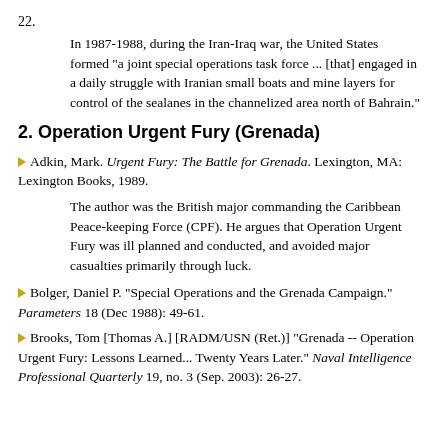22.
In 1987-1988, during the Iran-Iraq war, the United States formed "a joint special operations task force ... [that] engaged in a daily struggle with Iranian small boats and mine layers for control of the sealanes in the channelized area north of Bahrain."
2. Operation Urgent Fury (Grenada)
Adkin, Mark. Urgent Fury: The Battle for Grenada. Lexington, MA: Lexington Books, 1989.
The author was the British major commanding the Caribbean Peace-keeping Force (CPF). He argues that Operation Urgent Fury was ill planned and conducted, and avoided major casualties primarily through luck.
Bolger, Daniel P. "Special Operations and the Grenada Campaign." Parameters 18 (Dec 1988): 49-61.
Brooks, Tom [Thomas A.] [RADM/USN (Ret.)] "Grenada -- Operation Urgent Fury: Lessons Learned... Twenty Years Later." Naval Intelligence Professional Quarterly 19, no. 3 (Sep. 2003): 26-27.